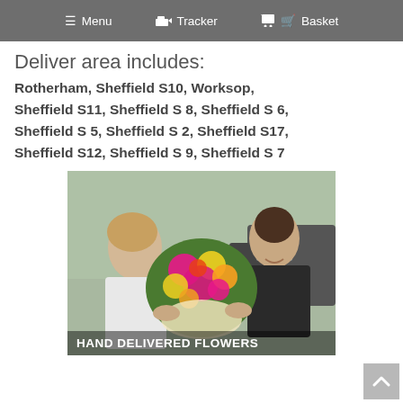Menu   Tracker   Basket
Deliver area includes:
Rotherham, Sheffield S10, Worksop, Sheffield S11, Sheffield S 8, Sheffield S 6, Sheffield S 5, Sheffield S 2, Sheffield S17, Sheffield S12, Sheffield S 9, Sheffield S 7
[Figure (photo): A female florist in dark uniform smiling and handing a large bouquet of colorful flowers (pink, yellow, orange gerberas, roses) to a woman in white, outdoors near a car. Overlay text reads HAND DELIVERED FLOWERS.]